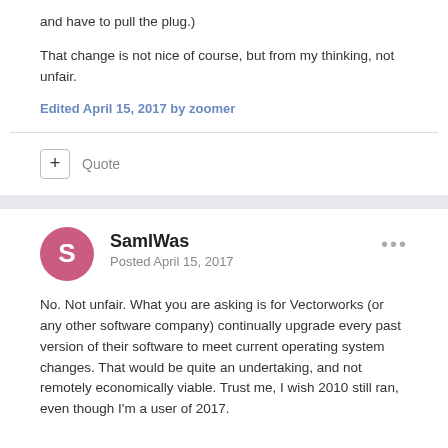and have to pull the plug.)
That change is not nice of course, but from my thinking, not unfair.
Edited April 15, 2017 by zoomer
+ Quote
SamIWas
Posted April 15, 2017
No.  Not unfair.  What you are asking is for Vectorworks (or any other software company) continually upgrade every past version of their software to meet current operating system changes.  That would be quite an undertaking, and not remotely economically viable.  Trust me, I wish 2010 still ran, even though I'm a user of 2017.